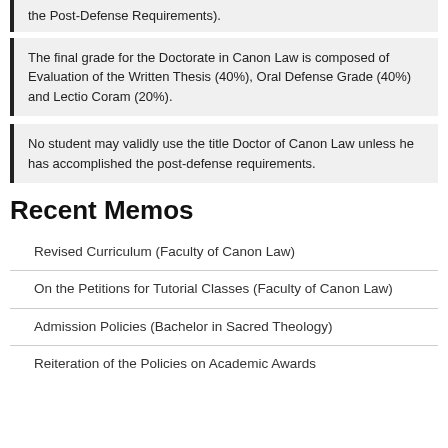the Post-Defense Requirements).
The final grade for the Doctorate in Canon Law is composed of Evaluation of the Written Thesis (40%), Oral Defense Grade (40%) and Lectio Coram (20%).
No student may validly use the title Doctor of Canon Law unless he has accomplished the post-defense requirements.
Recent Memos
Revised Curriculum (Faculty of Canon Law)
On the Petitions for Tutorial Classes (Faculty of Canon Law)
Admission Policies (Bachelor in Sacred Theology)
Reiteration of the Policies on Academic Awards